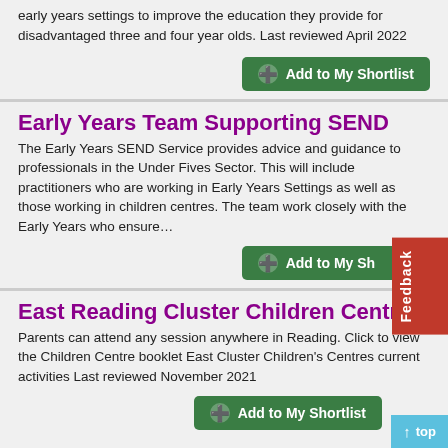early years settings to improve the education they provide for disadvantaged three and four year olds.   Last reviewed April 2022
Add to My Shortlist
Early Years Team Supporting SEND
The Early Years SEND Service provides advice and guidance to professionals in the Under Fives Sector. This will include practitioners who are working in Early Years Settings as well as those working in children centres. The team work closely with the Early Years who ensure…
Add to My Shortlist
East Reading Cluster Children Centres
Parents can attend any session anywhere in Reading. Click to view the Children Centre booklet East Cluster Children's Centres  current activities   Last reviewed November 2021
Add to My Shortlist